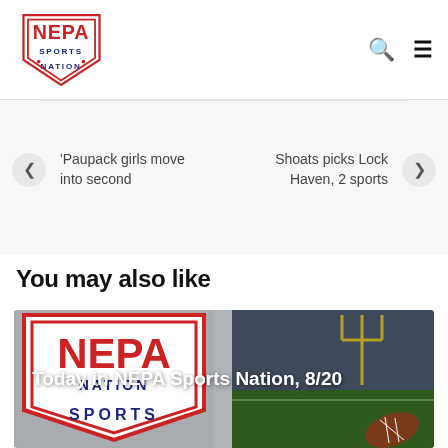NEPA Sports Nation
'Paupack girls move into second
Shoats picks Lock Haven, 2 sports
You may also like
[Figure (photo): NEPA Sports Nation logo and football field composite image with text overlay 'Today in NEPA Sports Nation, 8/20']